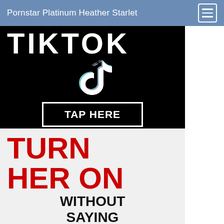Pornstar Platinum Heather Starlet
[Figure (screenshot): TikTok advertisement banner with black background showing partial TikTok logo text 'TIKTOK' and TikTok music note icon, with a white-bordered button labeled 'TAP HERE']
[Figure (infographic): Promotional advertisement on light grey background with large red bold text 'TURN HER ON' and black bold text 'WITHOUT SAYING A WORD...']